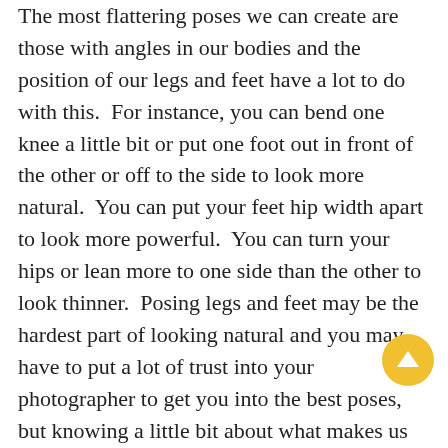The most flattering poses we can create are those with angles in our bodies and the position of our legs and feet have a lot to do with this. For instance, you can bend one knee a little bit or put one foot out in front of the other or off to the side to look more natural. You can put your feet hip width apart to look more powerful. You can turn your hips or lean more to one side than the other to look thinner. Posing legs and feet may be the hardest part of looking natural and you may have to put a lot of trust into your photographer to get you into the best poses, but knowing a little bit about what makes us look and feel natural can help in the overall process and make your photographer's job a little